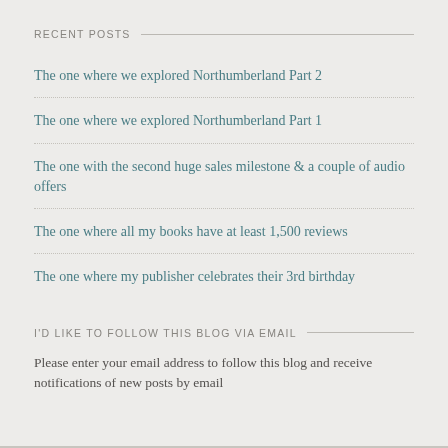RECENT POSTS
The one where we explored Northumberland Part 2
The one where we explored Northumberland Part 1
The one with the second huge sales milestone & a couple of audio offers
The one where all my books have at least 1,500 reviews
The one where my publisher celebrates their 3rd birthday
I'D LIKE TO FOLLOW THIS BLOG VIA EMAIL
Please enter your email address to follow this blog and receive notifications of new posts by email